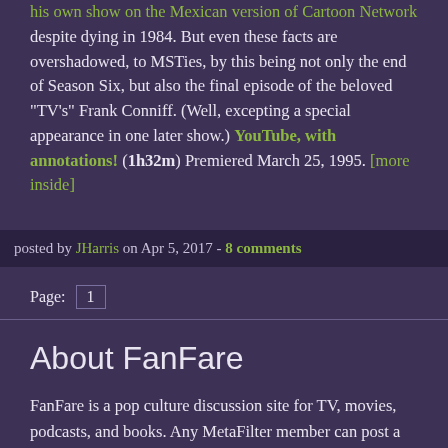his own show on the Mexican version of Cartoon Network despite dying in 1984. But even these facts are overshadowed, to MSTies, by this being not only the end of Season Six, but also the final episode of the beloved "TV's" Frank Conniff. (Well, excepting a special appearance in one later show.) YouTube, with annotations! (1h32m) Premiered March 25, 1995. [more inside]
posted by JHarris on Apr 5, 2017 - 8 comments
Page: 1
About FanFare
FanFare is a pop culture discussion site for TV, movies, podcasts, and books. Any MetaFilter member can post a thread about a piece of media for other members to discuss.